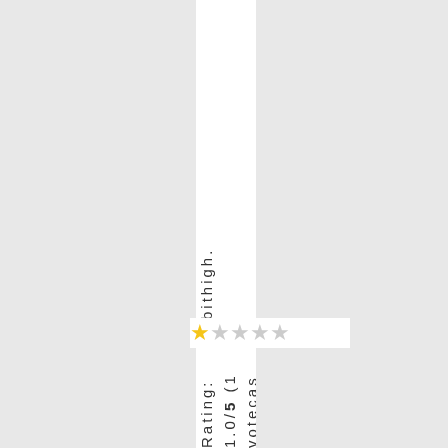bithigh.
[Figure (other): Star rating widget showing 1 filled star and 4 empty stars]
Rating: 1.0/5 (1 vote cas